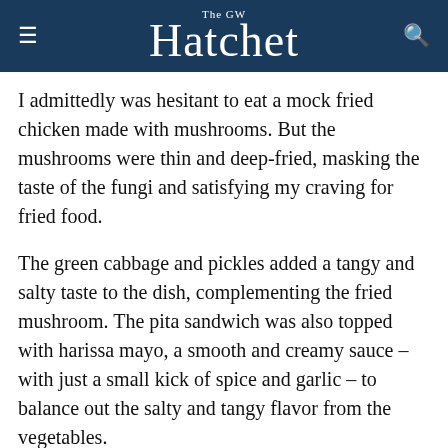The GW Hatchet
I admittedly was hesitant to eat a mock fried chicken made with mushrooms. But the mushrooms were thin and deep-fried, masking the taste of the fungi and satisfying my craving for fried food.
The green cabbage and pickles added a tangy and salty taste to the dish, complementing the fried mushroom. The pita sandwich was also topped with harissa mayo, a smooth and creamy sauce – with just a small kick of spice and garlic – to balance out the salty and tangy flavor from the vegetables.
When I usually eat salty and savory fried